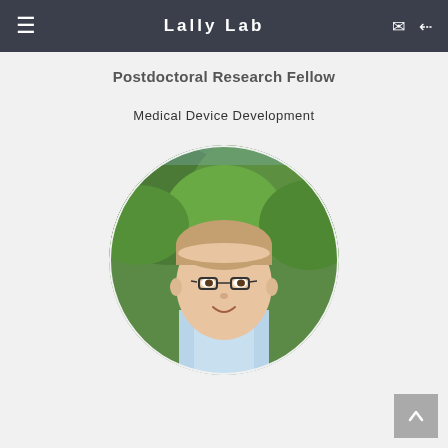Lally Lab
Postdoctoral Research Fellow
Medical Device Development
[Figure (photo): Circular portrait photo of a young man with glasses, wearing a light blue shirt, smiling, with green trees in the background]